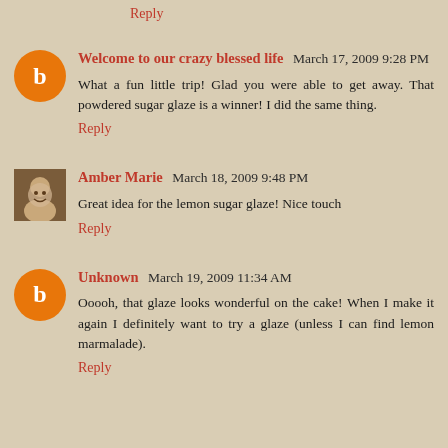Reply
Welcome to our crazy blessed life  March 17, 2009 9:28 PM
What a fun little trip! Glad you were able to get away. That powdered sugar glaze is a winner! I did the same thing.
Reply
Amber Marie  March 18, 2009 9:48 PM
Great idea for the lemon sugar glaze! Nice touch
Reply
Unknown  March 19, 2009 11:34 AM
Ooooh, that glaze looks wonderful on the cake! When I make it again I definitely want to try a glaze (unless I can find lemon marmalade).
Reply